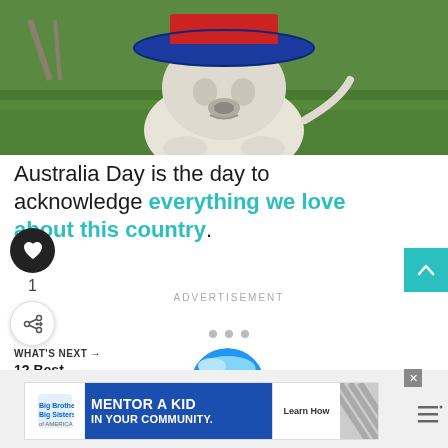[Figure (photo): A white bulldog wearing a blue and red wide-brimmed hat, sitting on green grass outdoors.]
Australia Day is the day to acknowledge everything we love about this country.
[Figure (other): Heart/like button (dark circle with white heart icon), count of 1, and share button]
ADVERTISEMENT
[Figure (other): Three gray dots pagination indicator]
WHAT'S NEXT → 12 Best Beaches in...
[Figure (photo): Round thumbnail of a tropical beach with blue water]
[Figure (other): Scroll-to-top button (teal square with up arrow chevron)]
[Figure (other): Advertisement banner: Big Brothers Big Sisters logo, MENTOR A KID IN YOUR COMMUNITY. Learn How button, diagonal stripe graphic]
[Figure (other): Close X button on ad, hamburger/menu icon with dots on right side]